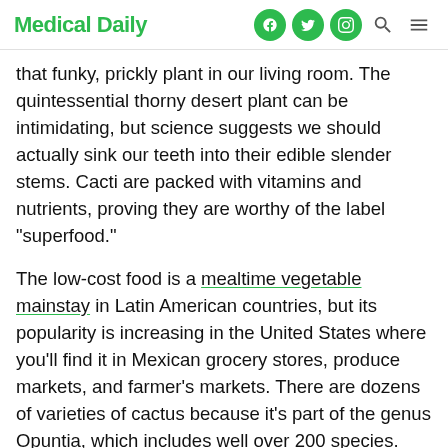Medical Daily
that funky, prickly plant in our living room. The quintessential thorny desert plant can be intimidating, but science suggests we should actually sink our teeth into their edible slender stems. Cacti are packed with vitamins and nutrients, proving they are worthy of the label “superfood.”
The low-cost food is a mealtime vegetable mainstay in Latin American countries, but its popularity is increasing in the United States where you’ll find it in Mexican grocery stores, produce markets, and farmer’s markets. There are dozens of varieties of cactus because it’s part of the genus Opuntia, which includes well over 200 species. The plant is shunned by people because of its spikes and bristles, but it can help alleviate ailments from high cholesterol to different types of cancer.